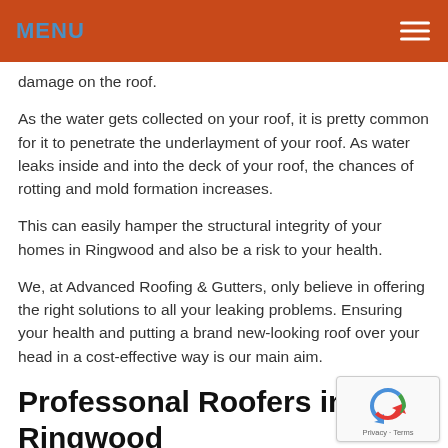MENU
damage on the roof.
As the water gets collected on your roof, it is pretty common for it to penetrate the underlayment of your roof. As water leaks inside and into the deck of your roof, the chances of rotting and mold formation increases.
This can easily hamper the structural integrity of your homes in Ringwood and also be a risk to your health.
We, at Advanced Roofing & Gutters, only believe in offering the right solutions to all your leaking problems. Ensuring your health and putting a brand new-looking roof over your head in a cost-effective way is our main aim.
Professonal Roofers in Ringwood
Roofing is a job that should only be done by professionals